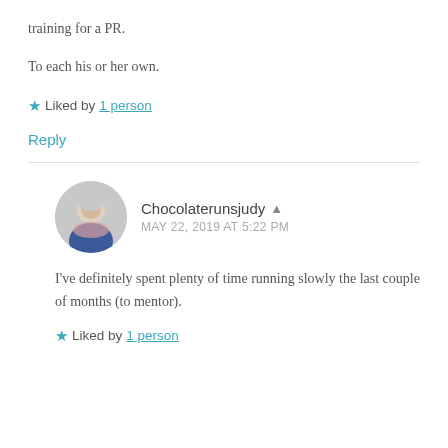training for a PR.
To each his or her own.
★ Liked by 1 person
Reply
Chocolaterunsjudy
MAY 22, 2019 AT 5:22 PM
I've definitely spent plenty of time running slowly the last couple of months (to mentor).
★ Liked by 1 person